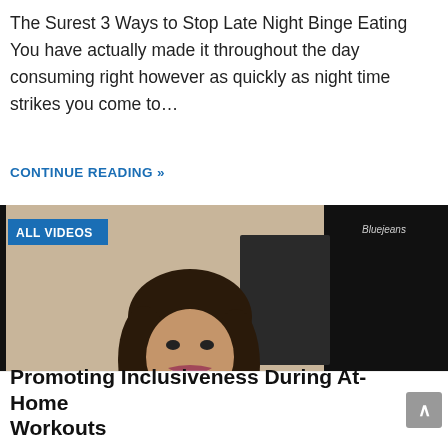The Surest 3 Ways to Stop Late Night Binge Eating You have actually made it throughout the day consuming right however as quickly as night time strikes you come to…
CONTINUE READING »
[Figure (screenshot): Video screenshot showing a woman with curly dark hair smiling, on a video call platform (Bluejeans). Badge reads 'ALL VIDEOS'. Name label 'Kerry O'Grady'. Subtitle: 'Yeah, I mean, I've actually, you know between teaching on 305 Fitness' YouTube channel.']
Promoting Inclusiveness During At-Home Workouts